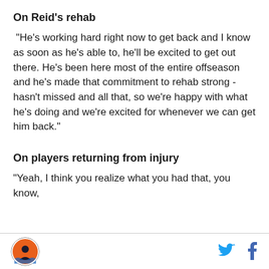On Reid's rehab
"He's working hard right now to get back and I know as soon as he's able to, he'll be excited to get out there. He's been here most of the entire offseason and he's made that commitment to rehab strong - hasn't missed and all that, so we're happy with what he's doing and we're excited for whenever we can get him back."
On players returning from injury
"Yeah, I think you realize what you had that, you know,
Logo and social icons